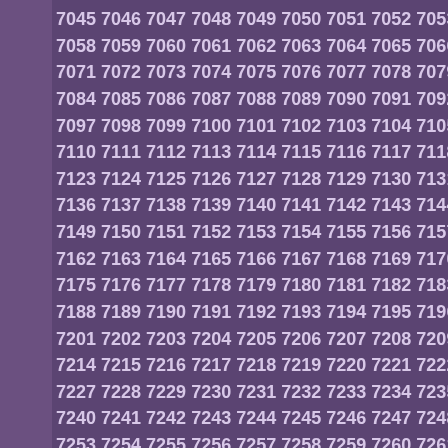7045 7046 7047 7048 7049 7050 7051 7052 7053 7054 7055 7056 7057 7058 7059 7060 7061 7062 7063 7064 7065 7066 7067 7068 7069 7070 7071 7072 7073 7074 7075 7076 7077 7078 7079 7080 7081 7082 7083 7084 7085 7086 7087 7088 7089 7090 7091 7092 7093 7094 7095 7096 7097 7098 7099 7100 7101 7102 7103 7104 7105 7106 7107 7108 7109 7110 7111 7112 7113 7114 7115 7116 7117 7118 7119 7120 7121 7122 7123 7124 7125 7126 7127 7128 7129 7130 7131 7132 7133 7134 7135 7136 7137 7138 7139 7140 7141 7142 7143 7144 7145 7146 7147 7148 7149 7150 7151 7152 7153 7154 7155 7156 7157 7158 7159 7160 7161 7162 7163 7164 7165 7166 7167 7168 7169 7170 7171 7172 7173 7174 7175 7176 7177 7178 7179 7180 7181 7182 7183 7184 7185 7186 7187 7188 7189 7190 7191 7192 7193 7194 7195 7196 7197 7198 7199 7200 7201 7202 7203 7204 7205 7206 7207 7208 7209 7210 7211 7212 7213 7214 7215 7216 7217 7218 7219 7220 7221 7222 7223 7224 7225 7226 7227 7228 7229 7230 7231 7232 7233 7234 7235 7236 7237 7238 7239 7240 7241 7242 7243 7244 7245 7246 7247 7248 7249 7250 7251 7252 7253 7254 7255 7256 7257 7258 7259 7260 7261 7262 7263 7264 7265 7266 7267 7268 7269 7270 7271 7272 7273 7274 7275 7276 7277 7278 7279 7280 7281 7282 7283 7284 7285 7286 7287 7288 7289 7290